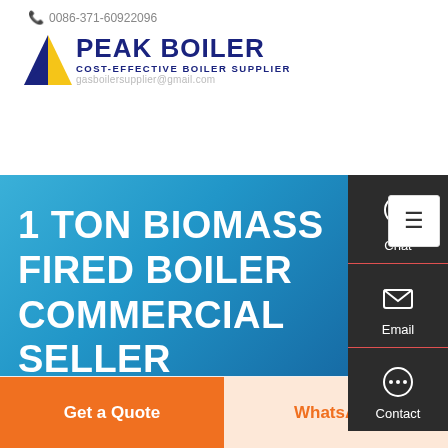0086-371-60922096 | gasboilersupplier@gmail.com | PEAK BOILER COST-EFFECTIVE BOILER SUPPLIER
[Figure (logo): Peak Boiler logo with blue and yellow flame icon, company name PEAK BOILER in dark blue bold text, subtitle COST-EFFECTIVE BOILER SUPPLIER]
1 TON BIOMASS FIRED BOILER COMMERCIAL SELLER AZERBAIJAN
[Figure (screenshot): Dark sidebar panel with Chat, Email, Contact icons and labels]
Chat
Email
Contact
Get a Quote
WhatsApp